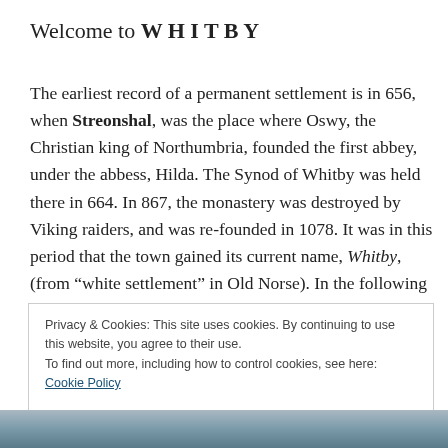Welcome to WHITBY
The earliest record of a permanent settlement is in 656, when Streonshal, was the place where Oswy, the Christian king of Northumbria, founded the first abbey, under the abbess, Hilda. The Synod of Whitby was held there in 664. In 867, the monastery was destroyed by Viking raiders, and was re-founded in 1078. It was in this period that the town gained its current name, Whitby, (from “white settlement” in Old Norse). In the following centuries Whitby functioned as a fishing settlement until, in the
Privacy & Cookies: This site uses cookies. By continuing to use this website, you agree to their use.
To find out more, including how to control cookies, see here: Cookie Policy
Close and accept
[Figure (photo): Bottom strip showing a partial photograph, likely of Whitby harbour or coastline]